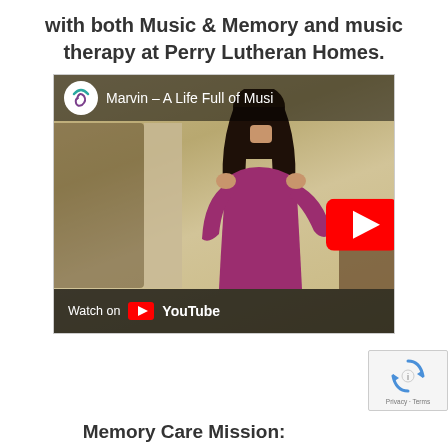with both Music & Memory and music therapy at Perry Lutheran Homes.
[Figure (screenshot): YouTube video thumbnail showing a woman in a magenta/purple top from behind, in a care facility setting. Video title reads 'Marvin – A Life Full of Music'. YouTube play button visible on right side. 'Watch on YouTube' bar at bottom.]
Memory Care Mission: